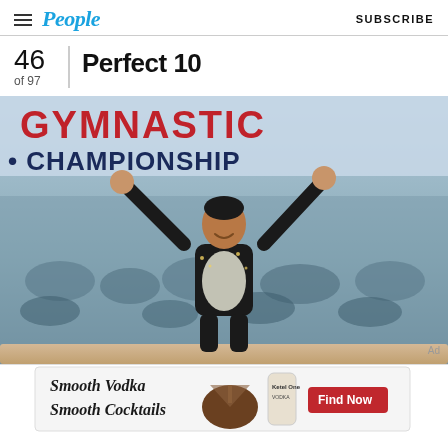People | SUBSCRIBE
46 of 97
Perfect 10
[Figure (photo): A gymnast (Simone Biles) celebrating with both arms raised at what appears to be a gymnastics championship event. She wears a black and white sparkled leotard. The background shows a banner reading 'GYMNASTICS CHAMPIONSHIP' and a blurred audience.]
[Figure (other): Advertisement banner for Smooth Vodka Smooth Cocktails - Ketel One Vodka with a 'Find Now' button]